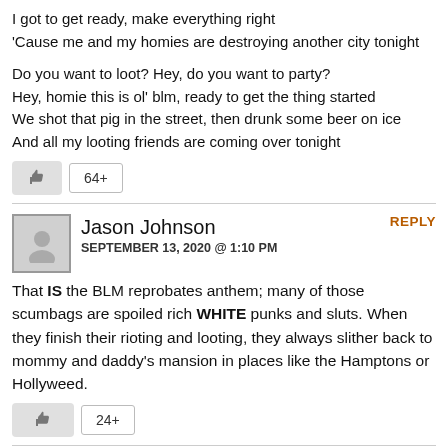I got to get ready, make everything right
'Cause me and my homies are destroying another city tonight

Do you want to loot? Hey, do you want to party?
Hey, homie this is ol' blm, ready to get the thing started
We shot that pig in the street, then drunk some beer on ice
And all my looting friends are coming over tonight
64+
Jason Johnson
SEPTEMBER 13, 2020 @ 1:10 PM
REPLY
That IS the BLM reprobates anthem; many of those scumbags are spoiled rich WHITE punks and sluts. When they finish their rioting and looting, they always slither back to mommy and daddy's mansion in places like the Hamptons or Hollyweed.
24+
Saving Country Music Commenters Association
SEPTEMBER 13, 2020 @ 3:38 PM
REPLY